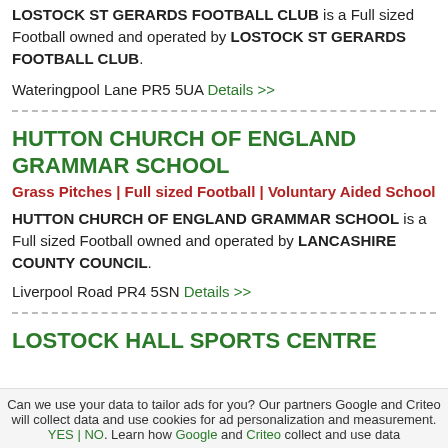LOSTOCK ST GERARDS FOOTBALL CLUB is a Full sized Football owned and operated by LOSTOCK ST GERARDS FOOTBALL CLUB.
Wateringpool Lane PR5 5UA Details >>
HUTTON CHURCH OF ENGLAND GRAMMAR SCHOOL
Grass Pitches | Full sized Football | Voluntary Aided School
HUTTON CHURCH OF ENGLAND GRAMMAR SCHOOL is a Full sized Football owned and operated by LANCASHIRE COUNTY COUNCIL.
Liverpool Road PR4 5SN Details >>
LOSTOCK HALL SPORTS CENTRE
Can we use your data to tailor ads for you? Our partners Google and Criteo will collect data and use cookies for ad personalization and measurement. YES | NO. Learn how Google and Criteo collect and use data